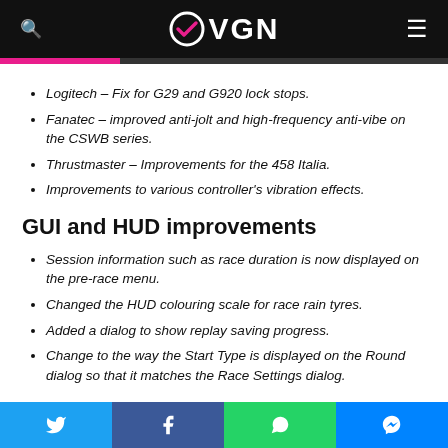OVEN (logo with checkmark)
Logitech – Fix for G29 and G920 lock stops.
Fanatec – improved anti-jolt and high-frequency anti-vibe on the CSWB series.
Thrustmaster – Improvements for the 458 Italia.
Improvements to various controller's vibration effects.
GUI and HUD improvements
Session information such as race duration is now displayed on the pre-race menu.
Changed the HUD colouring scale for race rain tyres.
Added a dialog to show replay saving progress.
Change to the way the Start Type is displayed on the Round dialog so that it matches the Race Settings dialog.
Social share bar: Twitter, Facebook, WhatsApp, Messenger